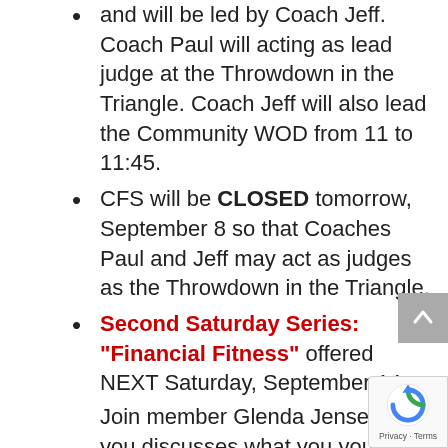and will be led by Coach Jeff. Coach Paul will acting as lead judge at the Throwdown in the Triangle. Coach Jeff will also lead the Community WOD from 11 to 11:45.
CFS will be CLOSED tomorrow, September 8 so that Coaches Paul and Jeff may act as judges as the Throwdown in the Triangle.
Second Saturday Series: “Financial Fitness” offered NEXT Saturday, September 14
Join member Glenda Jensen as you discusses what you you need to know about planning for retirement and why you’re never too young to start — because it’s not how you start, it’s how you finish.
Glenda is the President and Founder of Jensen Financial Group, Retirement Specialist, and has a Series 65 Securities